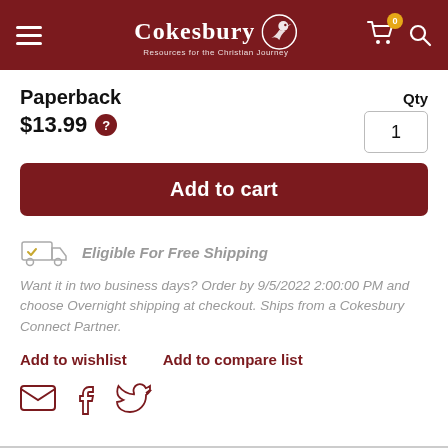Cokesbury — Resources for the Christian Journey
Paperback
$13.99
Qty 1
Add to cart
Eligible For Free Shipping
Want it in two business days? Order by 9/5/2022 2:00:00 PM and choose Overnight shipping at checkout. Ships from a Cokesbury Connect Partner.
Add to wishlist
Add to compare list
[Figure (illustration): Email, Facebook, and Twitter social share icons in dark red]